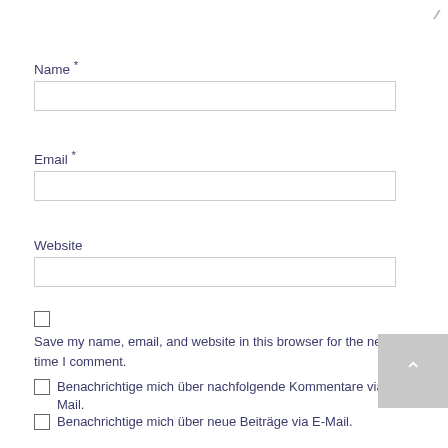Name *
Email *
Website
Save my name, email, and website in this browser for the next time I comment.
Benachrichtige mich über nachfolgende Kommentare via E-Mail.
Benachrichtige mich über neue Beiträge via E-Mail.